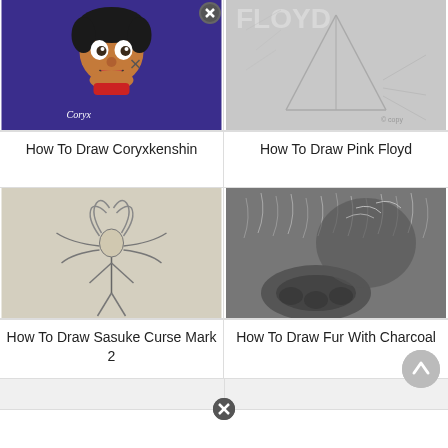[Figure (illustration): Cartoon illustration of Coryxkenshin on purple background with close button]
How To Draw Coryxkenshin
[Figure (illustration): Pencil sketch illustration resembling Pink Floyd artwork on gray background]
How To Draw Pink Floyd
[Figure (illustration): Pencil sketch of Sasuke Curse Mark 2 transformation on beige background]
How To Draw Sasuke Curse Mark 2
[Figure (photo): Close-up black and white photo of fur, likely a dog or cat]
How To Draw Fur With Charcoal